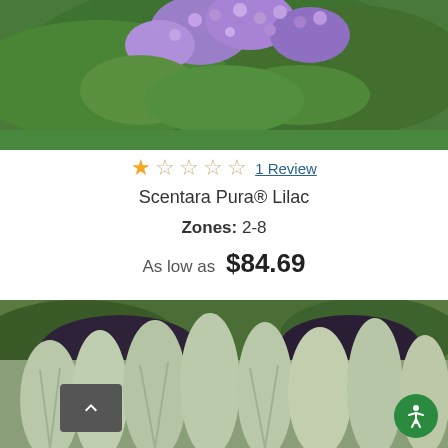[Figure (photo): Close-up photo of purple lilac flowers with green leaves in the background]
★☆☆☆☆ 1 Review
Scentara Pura® Lilac
Zones: 2-8
As low as $84.69
[Figure (photo): Photo of silver-grey leafy plants in a garden with colorful background plants including pink flowers]